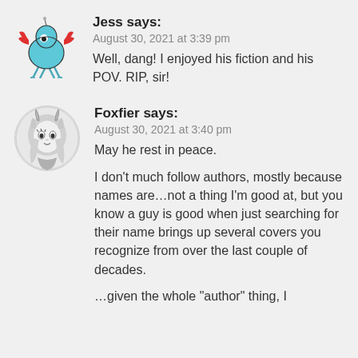[Figure (illustration): Avatar of user Jess: a cartoon blue crab-like creature with red claws and one eye, standing upright]
Jess says:
August 30, 2021 at 3:39 pm
Well, dang! I enjoyed his fiction and his POV. RIP, sir!
[Figure (illustration): Avatar of user Foxfier: a circular black-and-white manga-style drawing of a girl with horns and wavy hair]
Foxfier says:
August 30, 2021 at 3:40 pm
May he rest in peace.

I don't much follow authors, mostly because names are…not a thing I'm good at, but you know a guy is good when just searching for their name brings up several covers you recognize from over the last couple of decades.

…given the whole "author" thing, I